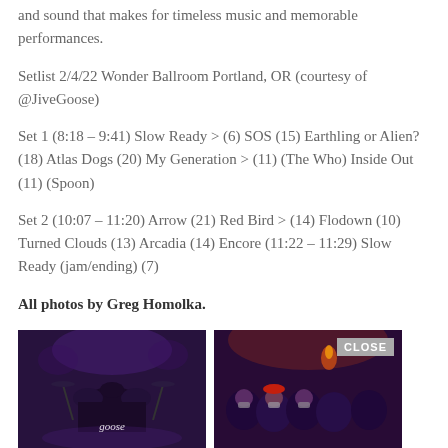and sound that makes for timeless music and memorable performances.
Setlist 2/4/22 Wonder Ballroom Portland, OR (courtesy of @JiveGoose)
Set 1 (8:18 – 9:41) Slow Ready > (6) SOS (15) Earthling or Alien? (18) Atlas Dogs (20) My Generation > (11) (The Who) Inside Out (11) (Spoon)
Set 2 (10:07 – 11:20) Arrow (21) Red Bird > (14) Flodown (10) Turned Clouds (13) Arcadia (14) Encore (11:22 – 11:29) Slow Ready (jam/ending) (7)
All photos by Greg Homolka.
[Figure (photo): Concert stage photo showing drum kit with purple/blue stage lighting and Goose logo visible, dark atmosphere]
[Figure (photo): Crowd photo at concert venue with purple lighting, people wearing masks, warm stage glow in background, CLOSE button overlay]